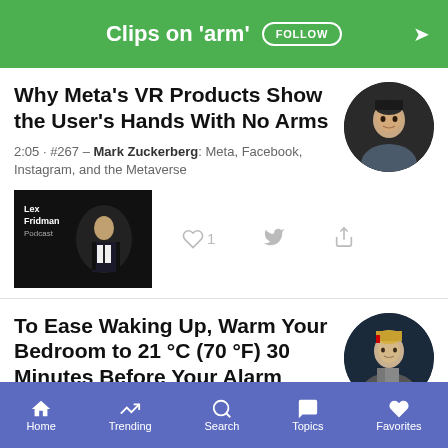Clips on 'arm'
Why Meta's VR Products Show the User's Hands With No Arms
2:05 · #267 – Mark Zuckerberg: Meta, Facebook, Instagram, and the Metaverse
[Figure (photo): Podcast thumbnail showing Lex Fridman Podcast with a man in suit and tie]
[Figure (photo): Circular profile photo of Mark Zuckerberg]
To Ease Waking Up, Warm Your Bedroom to 21 °C (70 °F) 30 Minutes Before Your Alarm
Home  Trending  Search  Topics  Favorites